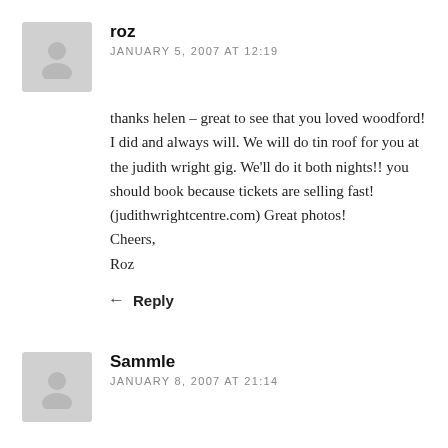roz
JANUARY 5, 2007 AT 12:19
thanks helen – great to see that you loved woodford! I did and always will. We will do tin roof for you at the judith wright gig. We'll do it both nights!! you should book because tickets are selling fast! (judithwrightcentre.com) Great photos!
Cheers,
Roz
Reply
Sammle
JANUARY 8, 2007 AT 21:14